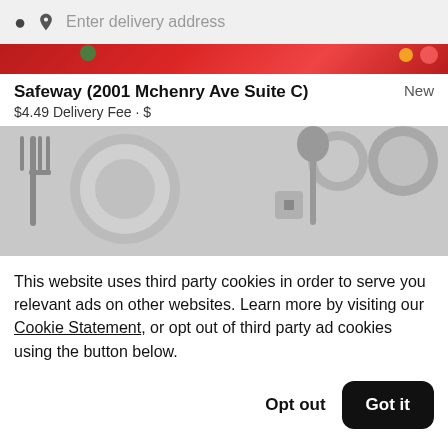Enter delivery address
[Figure (photo): Red banner with colorful fruit items at top]
Safeway (2001 Mchenry Ave Suite C)
New
$4.49 Delivery Fee • $
[Figure (photo): Grayscale illustration of kitchen items: fork, plates, spoon, bowls on white background]
This website uses third party cookies in order to serve you relevant ads on other websites. Learn more by visiting our Cookie Statement, or opt out of third party ad cookies using the button below.
Opt out
Got it